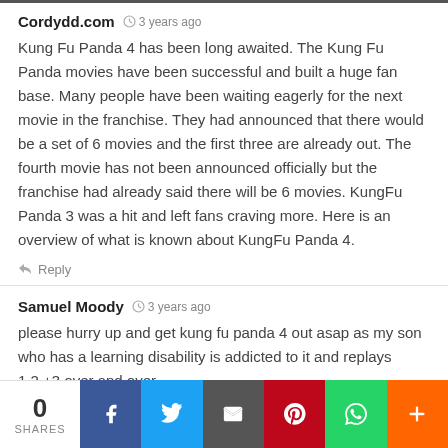Cordydd.com · 3 years ago
Kung Fu Panda 4 has been long awaited. The Kung Fu Panda movies have been successful and built a huge fan base. Many people have been waiting eagerly for the next movie in the franchise. They had announced that there would be a set of 6 movies and the first three are already out. The fourth movie has not been announced officially but the franchise had already said there will be 6 movies. KungFu Panda 3 was a hit and left fans craving more. Here is an overview of what is known about KungFu Panda 4.
Reply
Samuel Moody · 3 years ago
please hurry up and get kung fu panda 4 out asap as my son who has a learning disability is addicted to it and replays 1,2,+3 over and over